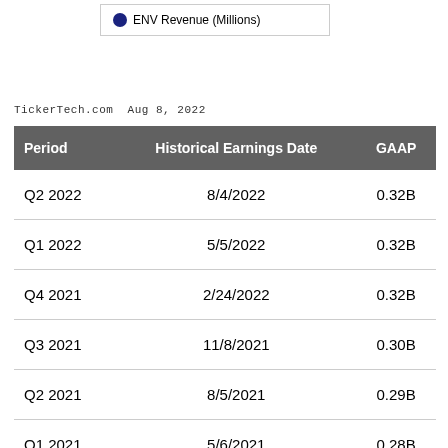[Figure (other): Legend box with blue dot and label: ENV Revenue (Millions)]
TickerTech.com  Aug 8, 2022
| Period | Historical Earnings Date | GAAP |
| --- | --- | --- |
| Q2 2022 | 8/4/2022 | 0.32B |
| Q1 2022 | 5/5/2022 | 0.32B |
| Q4 2021 | 2/24/2022 | 0.32B |
| Q3 2021 | 11/8/2021 | 0.30B |
| Q2 2021 | 8/5/2021 | 0.29B |
| Q1 2021 | 5/6/2021 | 0.28B |